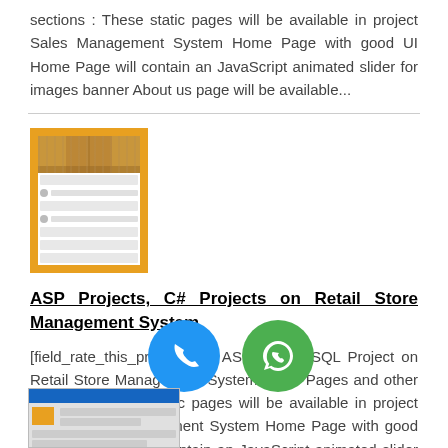sections : These static pages will be available in project Sales Management System Home Page with good UI Home Page will contain an JavaScript animated slider for images banner About us page will be available...
[Figure (screenshot): Screenshot of a retail store management system web page with an orange border/background and a store aisle image at the top]
ASP Projects, C# Projects on Retail Store Management System
[field_rate_this_project] C#, ASP and MySQL Project on Retail Store Management System Static Pages and other sections : These static pages will be available in project Retail Store Management System Home Page with good UI Home Page will contain an JavaScript animated slider for images banner About us pa...
[Figure (screenshot): Partial screenshot of another project page at the bottom, with a blue header bar]